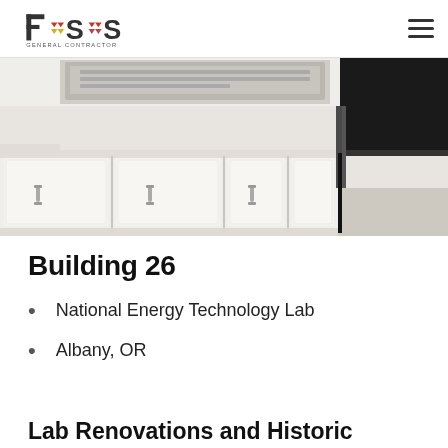FSS General Contractor
[Figure (photo): Interior laboratory photo showing white base cabinets with metal handles and a dark countertop, lab fume hood or equipment visible at top]
Building 26
National Energy Technology Lab
Albany, OR
Lab Renovations and Historic